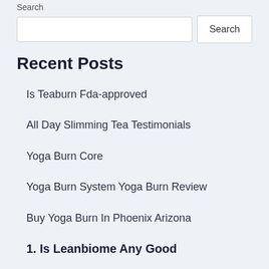Search
Recent Posts
Is Teaburn Fda-approved
All Day Slimming Tea Testimonials
Yoga Burn Core
Yoga Burn System Yoga Burn Review
Buy Yoga Burn In Phoenix Arizona
1. Is Leanbiome Any Good